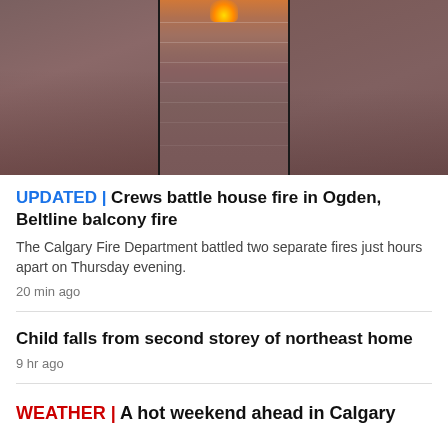[Figure (photo): Nighttime photo of a multi-storey apartment building with a fire/flames visible on an upper balcony, split into three panels]
UPDATED | Crews battle house fire in Ogden, Beltline balcony fire
The Calgary Fire Department battled two separate fires just hours apart on Thursday evening.
20 min ago
Child falls from second storey of northeast home
9 hr ago
WEATHER | A hot weekend ahead in Calgary